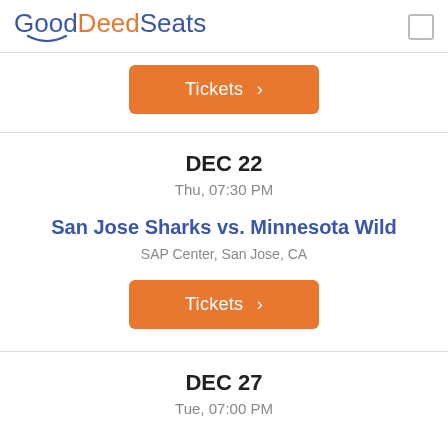GoodDeedSeats
Tickets >
DEC 22
Thu, 07:30 PM
San Jose Sharks vs. Minnesota Wild
SAP Center, San Jose, CA
Tickets >
DEC 27
Tue, 07:00 PM